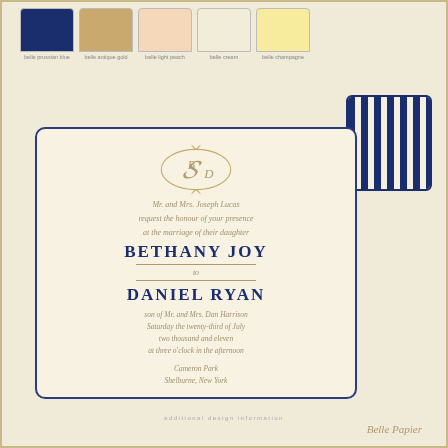[Figure (infographic): Five color swatches displayed in a row: belle prussian blue (dark navy), belle antique gold (tan/beige), belle light peach (light peach), belle cream (cream white), belle champagne (pale yellow). Each swatch is a rounded-top rectangle with a label below.]
[Figure (illustration): Navy blue striped card/envelope sample with vertical stripes, shown at upper right, partially overlapping the main invitation card.]
[Figure (illustration): Wedding invitation card on cream background with navy border and rounded corners. Contains a decorative monogram with letters B and D in gold italics inside an ornate frame, followed by italic script text and bold names BETHANY JOY and DANIEL RYAN.]
additional design information
Belle Papier